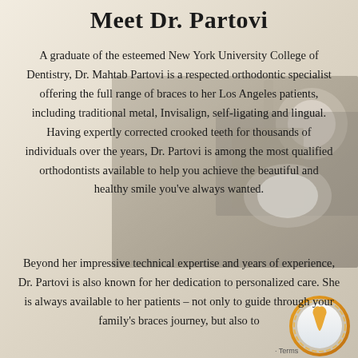Meet Dr. Partovi
A graduate of the esteemed New York University College of Dentistry, Dr. Mahtab Partovi is a respected orthodontic specialist offering the full range of braces to her Los Angeles patients, including traditional metal, Invisalign, self-ligating and lingual. Having expertly corrected crooked teeth for thousands of individuals over the years, Dr. Partovi is among the most qualified orthodontists available to help you achieve the beautiful and healthy smile you've always wanted.
[Figure (photo): Background photo of dental equipment/lamp in a dental office setting, with a dental logo overlay in the bottom right corner]
Beyond her impressive technical expertise and years of experience, Dr. Partovi is also known for her dedication to personalized care. She is always available to her patients – not only to guide through your family's braces journey, but also to